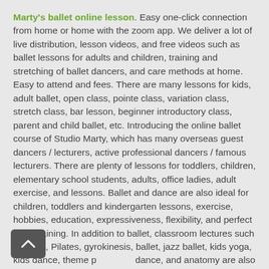Marty's ballet online lesson. Easy one-click connection from home or home with the zoom app. We deliver a lot of live distribution, lesson videos, and free videos such as ballet lessons for adults and children, training and stretching of ballet dancers, and care methods at home. Easy to attend and fees. There are many lessons for kids, adult ballet, open class, pointe class, variation class, stretch class, bar lesson, beginner introductory class, parent and child ballet, etc. Introducing the online ballet course of Studio Marty, which has many overseas guest dancers / lecturers, active professional dancers / famous lecturers. There are plenty of lessons for toddlers, children, elementary school students, adults, office ladies, adult exercise, and lessons. Ballet and dance are also ideal for children, toddlers and kindergarten lessons, exercise, hobbies, education, expressiveness, flexibility, and perfect pitch training. In addition to ballet, classroom lectures such as yoga, Pilates, gyrokinesis, ballet, jazz ballet, kids yoga, kids dance, theme park dance, and anatomy are also available. You can also take classes on your smartphone. It is an online lesson that is easy to